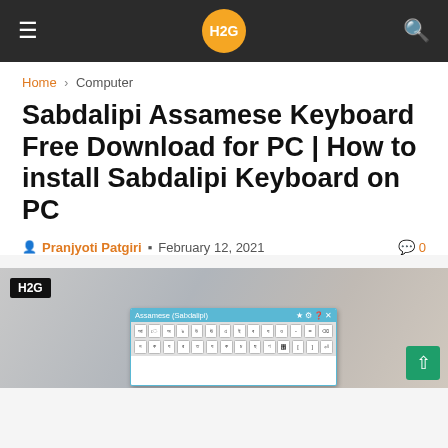H2G
Home › Computer
Sabdalipi Assamese Keyboard Free Download for PC | How to install Sabdalipi Keyboard on PC
Pranjyoti Patgiri · February 12, 2021   0
[Figure (screenshot): H2G branded featured image showing a desk scene with a keyboard virtual overlay popup labeled 'Assamese (Sabdalipi)' with keyboard characters visible]